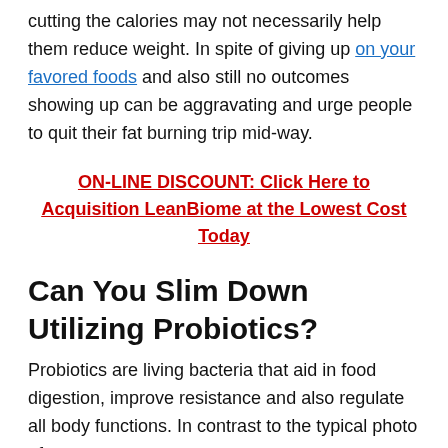cutting the calories may not necessarily help them reduce weight. In spite of giving up on your favored foods and also still no outcomes showing up can be aggravating and urge people to quit their fat burning trip mid-way.
ON-LINE DISCOUNT: Click Here to Acquisition LeanBiome at the Lowest Cost Today
Can You Slim Down Utilizing Probiotics?
Probiotics are living bacteria that aid in food digestion, improve resistance and also regulate all body functions. In contrast to the typical photo of